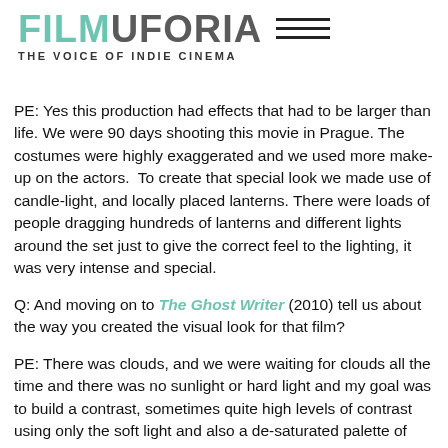FILMUFORIA__ THE VOICE OF INDIE CINEMA ——
PE: Yes this production had effects that had to be larger than life. We were 90 days shooting this movie in Prague. The costumes were highly exaggerated and we used more make-up on the actors.  To create that special look we made use of candle-light, and locally placed lanterns. There were loads of people dragging hundreds of lanterns and different lights around the set just to give the correct feel to the lighting, it was very intense and special.
Q: And moving on to The Ghost Writer (2010) tell us about the way you created the visual look for that film?
PE: There was clouds, and we were waiting for clouds all the time and there was no sunlight or hard light and my goal was to build a contrast, sometimes quite high levels of contrast using only the soft light and also a de-saturated palette of colours.
Q You go from a very short depth of field to a very wide lens in the scene of Ewan McGregor and Olivier Williams when they're